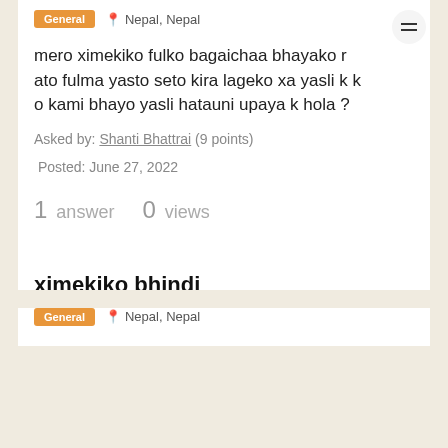General | Nepal, Nepal
mero ximekiko fulko bagaichaa bhayako r ato fulma yasto seto kira lageko xa yasli k ko kami bhayo yasli hatauni upaya k hola ?
Asked by: Shanti Bhattrai (9 points)
Posted: June 27, 2022
1 answer   0 views
ximekiko bhindi
General | Nepal, Nepal